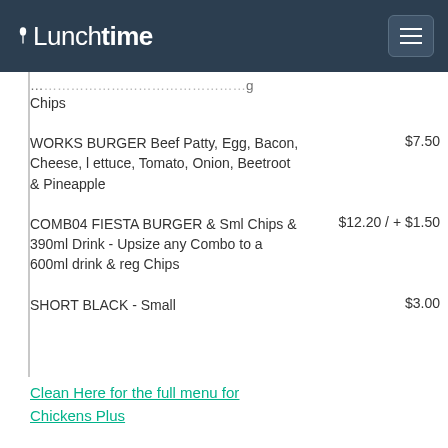Lunchtime
Chips
WORKS BURGER Beef Patty, Egg, Bacon, Cheese, Lettuce, Tomato, Onion, Beetroot & Pineapple — $7.50
COMB04 FIESTA BURGER & Sml Chips & 390ml Drink - Upsize any Combo to a 600ml drink & reg Chips — $12.20 / + $1.50
SHORT BLACK - Small — $3.00
Clean Here for the full menu for Chickens Plus
[Figure (infographic): Advertisement: Pop in & Shop New Arrivals, World Market, with direction icon and logo]